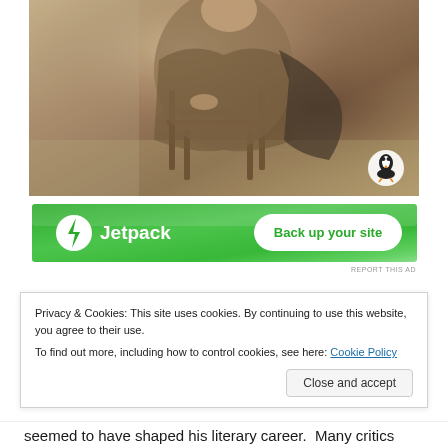[Figure (photo): Sepia-toned vintage photograph of a person seated, wearing traditional/period clothing with a patterned shawl. A Penguin Books logo appears in the bottom right corner of the image.]
[Figure (infographic): Jetpack advertisement banner with green gradient background. Shows Jetpack logo (lightning bolt in circle) with text 'Jetpack' and a button 'Back up your site'.]
REPORT THIS AD
Privacy & Cookies: This site uses cookies. By continuing to use this website, you agree to their use.
To find out more, including how to control cookies, see here: Cookie Policy
Close and accept
seemed to have shaped his literary career.  Many critics